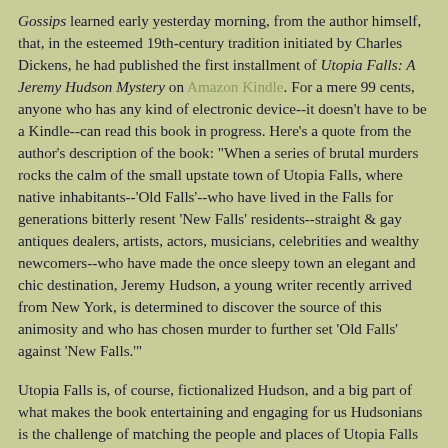Gossips learned early yesterday morning, from the author himself, that, in the esteemed 19th-century tradition initiated by Charles Dickens, he had published the first installment of Utopia Falls: A Jeremy Hudson Mystery on Amazon Kindle. For a mere 99 cents, anyone who has any kind of electronic device--it doesn't have to be a Kindle--can read this book in progress. Here's a quote from the author's description of the book: "When a series of brutal murders rocks the calm of the small upstate town of Utopia Falls, where native inhabitants--'Old Falls'--who have lived in the Falls for generations bitterly resent 'New Falls' residents--straight & gay antiques dealers, artists, actors, musicians, celebrities and wealthy newcomers--who have made the once sleepy town an elegant and chic destination, Jeremy Hudson, a young writer recently arrived from New York, is determined to discover the source of this animosity and who has chosen murder to further set 'Old Falls' against 'New Falls.'"
Utopia Falls is, of course, fictionalized Hudson, and a big part of what makes the book entertaining and engaging for us Hudsonians is the challenge of matching the people and places of Utopia Falls with the people and places of Hudson. Intriguing, too, is the way